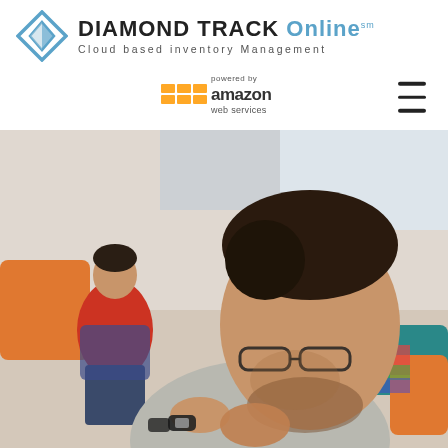[Figure (logo): Diamond Track Online logo with diamond-shaped icon and text 'DIAMOND TRACK Online sm' and subtitle 'Cloud based inventory Management']
[Figure (logo): Powered by Amazon Web Services logo with orange cube grid icon and text 'powered by amazon web services']
[Figure (photo): Photo of a man in a grey t-shirt wearing glasses and a watch, resting his chin on his fist in a contemplative pose, with another man in a red shirt visible in the background, in a modern office/lounge setting with colorful furniture]